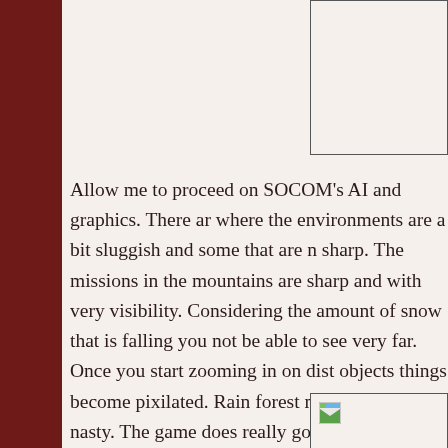[Figure (other): Partial image box at top right, border visible]
Allow me to proceed on SOCOM's AI and graphics. There are where the environments are a bit sluggish and some that are sharp. The missions in the mountains are sharp and with very visibility. Considering the amount of snow that is falling you not be able to see very far. Once you start zooming in on distant objects things become pixilated. Rain forest missions are just nasty. The game does really good job dealing with the rain forest environment. Dense fog, nasty ground and sluggish trees in the are pretty good. Although I still have a problem with visibility in this game. The further you look the more pixilated the background gets.
[Figure (other): Partial image box at bottom right with image icon visible]